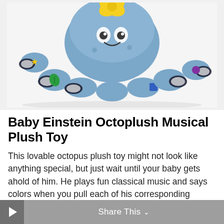[Figure (photo): Blue octopus plush toy with a yellow bow on top, featuring tentacles with embroidered colored symbols, on a white background]
Baby Einstein Octoplush Musical Plush Toy
This lovable octopus plush toy might not look like anything special, but just wait until your baby gets ahold of him. He plays fun classical music and says colors when you pull each of his corresponding tentacles. He also has settings that allow him to speak in English, Spanish and French.
Share This